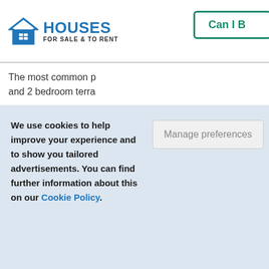HOUSES FOR SALE & TO RENT | Can I B
The most common p and 2 bedroom terra
We use cookies to help improve your experience and to show you tailored advertisements. You can find further information about this on our Cookie Policy.